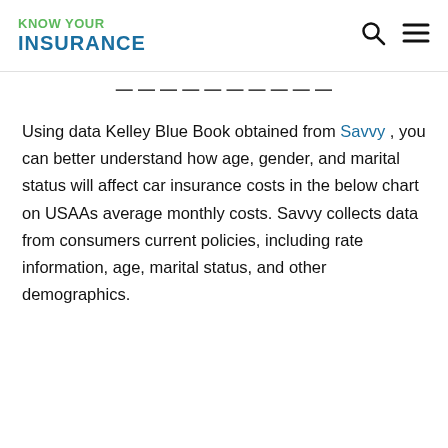KNOW YOUR INSURANCE
Using data Kelley Blue Book obtained from Savvy, you can better understand how age, gender, and marital status will affect car insurance costs in the below chart on USAAs average monthly costs. Savvy collects data from consumers current policies, including rate information, age, marital status, and other demographics.